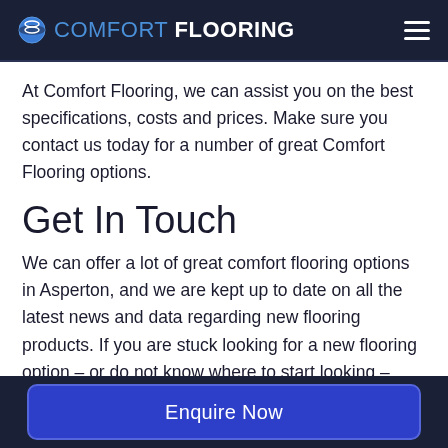COMFORT FLOORING
At Comfort Flooring, we can assist you on the best specifications, costs and prices. Make sure you contact us today for a number of great Comfort Flooring options.
Get In Touch
We can offer a lot of great comfort flooring options in Asperton, and we are kept up to date on all the latest news and data regarding new flooring products. If you are stuck looking for a new flooring option – or do not know where to start looking – then get in touch with us and let
Enquire Now